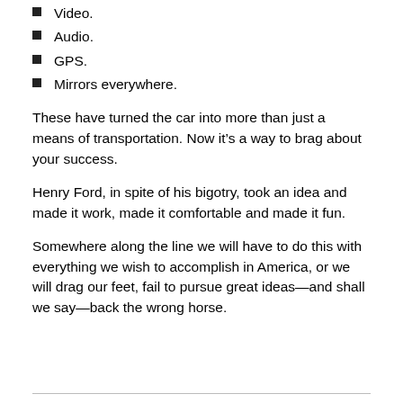Video.
Audio.
GPS.
Mirrors everywhere.
These have turned the car into more than just a means of transportation. Now it’s a way to brag about your success.
Henry Ford, in spite of his bigotry, took an idea and made it work, made it comfortable and made it fun.
Somewhere along the line we will have to do this with everything we wish to accomplish in America, or we will drag our feet, fail to pursue great ideas—and shall we say—back the wrong horse.